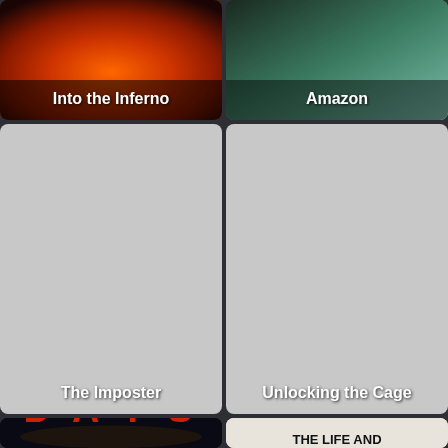[Figure (screenshot): Movie thumbnail for 'Into the Inferno' with fiery reddish-orange background]
[Figure (screenshot): Movie thumbnail for 'Amazon' with blue-green forest background]
[Figure (screenshot): Movie thumbnail for 'The Imposter' with gray placeholder background]
[Figure (screenshot): Movie thumbnail for 'Unlocking the Cage' with gray placeholder background]
[Figure (screenshot): Movie thumbnail for '20,000 Days' with dark background and red text]
[Figure (screenshot): Movie thumbnail for 'The Life and Mind of Mark DeFriest' with newspaper-style design]